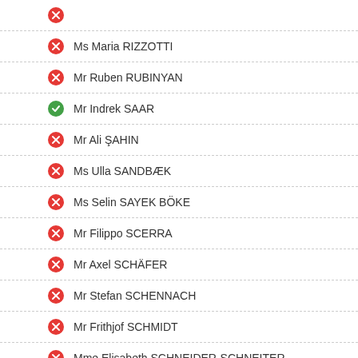Ms Maria RIZZOTTI
Mr Ruben RUBINYAN
Mr Indrek SAAR
Mr Ali ŞAHIN
Ms Ulla SANDBÆK
Ms Selin SAYEK BÖKE
Mr Filippo SCERRA
Mr Axel SCHÄFER
Mr Stefan SCHENNACH
Mr Frithjof SCHMIDT
Mme Elisabeth SCHNEIDER-SCHNEITER
Ms Ingjerd SCHOU
Mr Frank SCHWABE
Mr Aleksandar ŠEŠELJ
Mr Samad SEYIDOV
Mr Tommy SHEPPARD
Mr Serhii SOBOLIEV